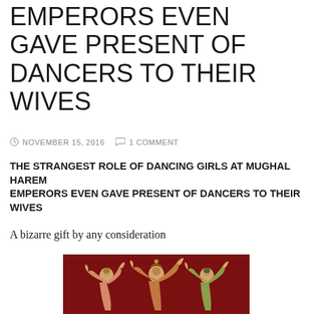EMPERORS EVEN GAVE PRESENT OF DANCERS TO THEIR WIVES
NOVEMBER 15, 2016   1 COMMENT
THE STRANGEST ROLE OF DANCING GIRLS AT MUGHAL HAREM EMPERORS EVEN GAVE PRESENT OF DANCERS TO THEIR WIVES
A bizarre gift by any consideration
[Figure (illustration): Mughal miniature painting showing three dancing girls in traditional costume against a dark red background, wearing jewelry and elaborate headdresses, performing classical dance poses.]